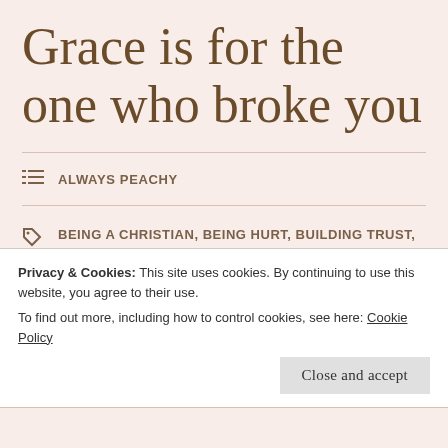Grace is for the one who broke you
ALWAYS PEACHY
BEING A CHRISTIAN, BEING HURT, BUILDING TRUST, CHRISTIAN LIFE, COLOSSIANS 1:21-22, EARNING TRUST, EPHESIANS 2:8-9, FOLLOWING JESUS, FORGIVENESS, FORGIVING OTHERS, GRACE, HURT FEELINGS, LOVE, MATTHEW 5:44, MATTHEW 7:6, PHILIPPIANS 4:13, PRACTICAL CHRISTIANITY, PRACTICAL GRACE, PROVERBS 4:23
Privacy & Cookies: This site uses cookies. By continuing to use this website, you agree to their use. To find out more, including how to control cookies, see here: Cookie Policy
Close and accept